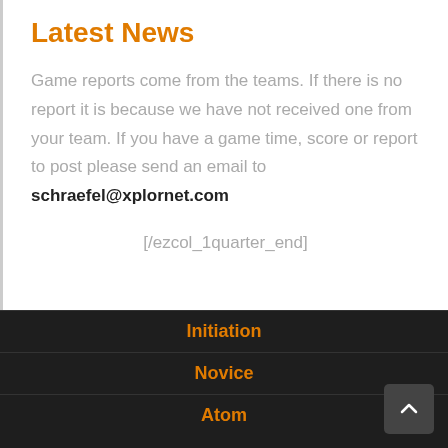Latest News
Game reports come from the teams. If there is no report it is because we have not received one from your team. If you have a game time, score or report to post please send an email to schraefel@xplornet.com
[/ezcol_1quarter_end]
Initiation
Novice
Atom